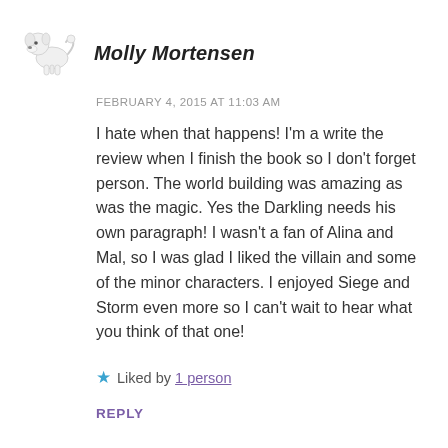[Figure (illustration): Small cartoon/clipart illustration of a white fluffy dog (poodle-like) facing right]
Molly Mortensen
FEBRUARY 4, 2015 AT 11:03 AM
I hate when that happens! I'm a write the review when I finish the book so I don't forget person. The world building was amazing as was the magic. Yes the Darkling needs his own paragraph! I wasn't a fan of Alina and Mal, so I was glad I liked the villain and some of the minor characters. I enjoyed Siege and Storm even more so I can't wait to hear what you think of that one!
★ Liked by 1 person
REPLY